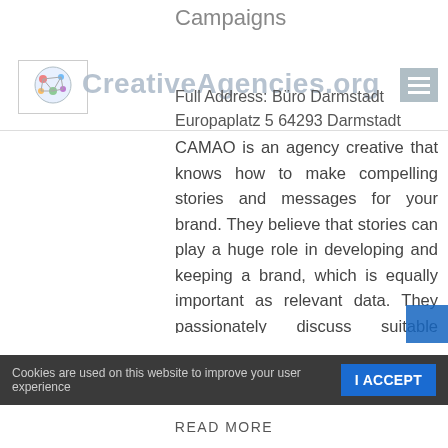Campaigns
Full Address: Büro Darmstadt
Europaplatz 5 64293 Darmstadt
[Figure (logo): CreativeAgencies.org website logo with colorful brain/network graphic and navigation hamburger icon overlay]
CAMAO is an agency creative that knows how to make compelling stories and messages for your brand. They believe that stories can play a huge role in developing and keeping a brand, which is equally important as relevant data. They passionately discuss suitable headlines and visuals that will help you convey your brand value as well as improve your conversion rate and sales revenue.
They have a roster of talents that have many years of experience in the field. Their people are from inter disciplines in the
Cookies are used on this website to improve your user experience   I ACCEPT
READ MORE